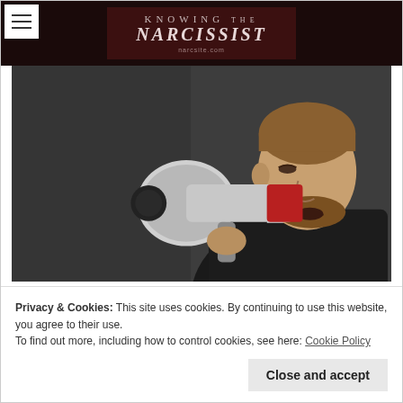KNOWING THE NARCISSIST — narcsite.com
[Figure (photo): Man in dark suit shouting into a megaphone/bullhorn, dark grey background, side profile facing right]
Privacy & Cookies: This site uses cookies. By continuing to use this website, you agree to their use.
To find out more, including how to control cookies, see here: Cookie Policy
Close and accept